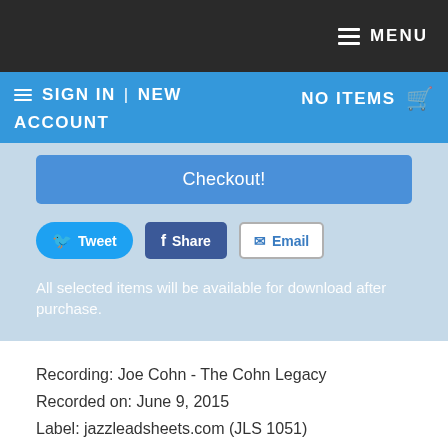MENU
SIGN IN | NEW ACCOUNT   NO ITEMS
Checkout!
Tweet   Share   Email
All selected items will be available for download after purchase.
Recording: Joe Cohn - The Cohn Legacy
Recorded on: June 9, 2015
Label: jazzleadsheets.com (JLS 1051)
Concert Key: C
Style: Swing (medium)
Guitar - Joe Cohn
Bass - Ben Rubens
Drums - Ben Zweig